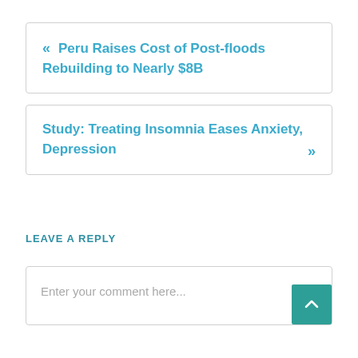« Peru Raises Cost of Post-floods Rebuilding to Nearly $8B
Study: Treating Insomnia Eases Anxiety, Depression »
LEAVE A REPLY
Enter your comment here...